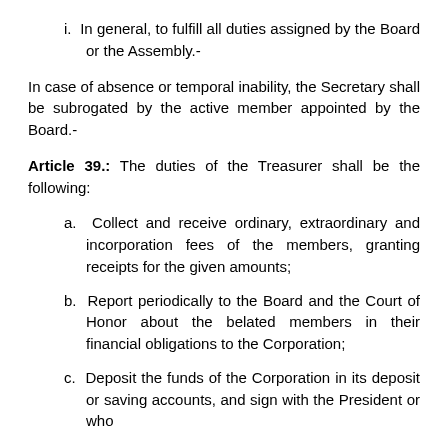i. In general, to fulfill all duties assigned by the Board or the Assembly.-
In case of absence or temporal inability, the Secretary shall be subrogated by the active member appointed by the Board.-
Article 39.: The duties of the Treasurer shall be the following:
a. Collect and receive ordinary, extraordinary and incorporation fees of the members, granting receipts for the given amounts;
b. Report periodically to the Board and the Court of Honor about the belated members in their financial obligations to the Corporation;
c. Deposit the funds of the Corporation in its deposit or saving accounts, and sign with the President or who